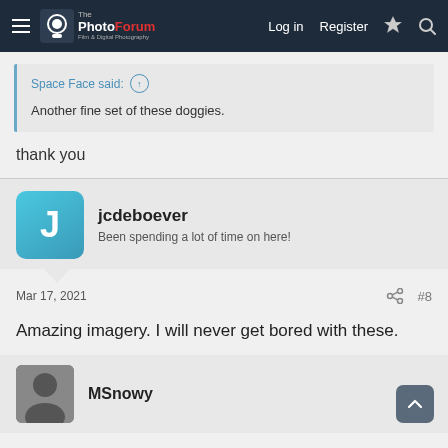The PhotoForum — Log in  Register
Space Face said:
Another fine set of these doggies.
thank you
jcdeboever
Been spending a lot of time on here!
Mar 17, 2021  #8
Amazing imagery. I will never get bored with these.
MSnowy